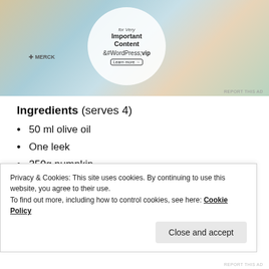[Figure (screenshot): Advertisement banner for WordPress VIP platform showing logos of Capgemini, Merck, Hachette and other brands around a white circle with text 'for Very Important Content', WordPress VIP logo, and a 'Learn more' button.]
Ingredients (serves 4)
50 ml olive oil
One leek
250g pumpkin
Privacy & Cookies: This site uses cookies. By continuing to use this website, you agree to their use.
To find out more, including how to control cookies, see here: Cookie Policy
Close and accept